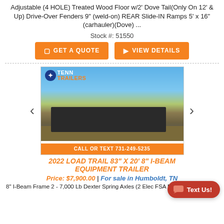Adjustable (4 HOLE) Treated Wood Floor w/2' Dove Tail(Only On 12' & Up) Drive-Over Fenders 9" (weld-on) REAR Slide-IN Ramps 5' x 16" (carhauler)(Dove) ...
Stock #: 51550
GET A QUOTE
VIEW DETAILS
[Figure (photo): Tenn Trailers product photo showing a flatbed/equipment trailer outdoors. Logo reads TENN TRAILERS. Bottom bar: CALL OR TEXT 731-249-5235]
2022 LOAD TRAIL 83" X 20' 8" I-BEAM EQUIPMENT TRAILER
Price: $7,900.00 | For sale in Humboldt, TN
8" I-Beam Frame 2 - 7,000 Lb Dexter Spring Axles (2 Elec FSA Brakes)